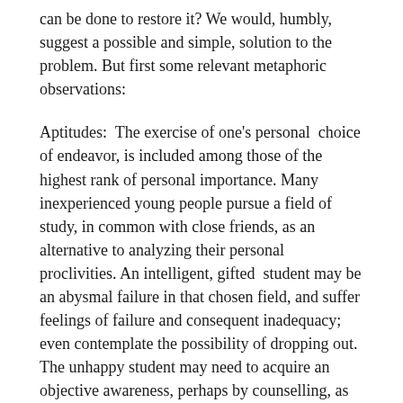can be done to restore it? We would, humbly, suggest a possible and simple, solution to the problem. But first some relevant metaphoric observations:
Aptitudes:  The exercise of one's personal  choice of endeavor, is included among those of the highest rank of personal importance. Many inexperienced young people pursue a field of study, in common with close friends, as an alternative to analyzing their personal proclivities. An intelligent, gifted  student may be an abysmal failure in that chosen field, and suffer feelings of failure and consequent inadequacy; even contemplate the possibility of dropping out. The unhappy student may need to acquire an objective awareness, perhaps by counselling, as to the human  phenomenon of aptitudes, which vary among individuals; as an individual who is a